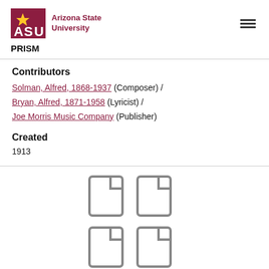[Figure (logo): Arizona State University logo with ASU text and sun icon, followed by 'Arizona State University' text in maroon]
PRISM
Contributors
Solman, Alfred, 1868-1937 (Composer) / Bryan, Alfred, 1871-1958 (Lyricist) / Joe Morris Music Company (Publisher)
Created
1913
[Figure (illustration): Four document/file icons arranged in a 2x2 grid, gray outline style]
Just A Bundle of Sunshine